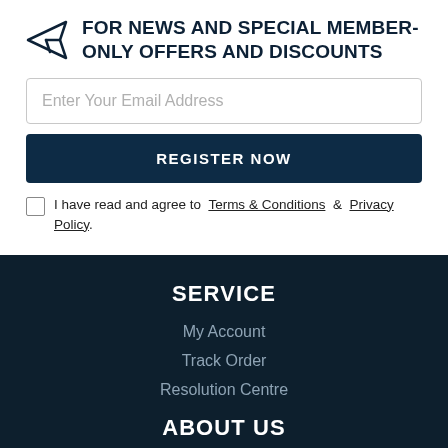FOR NEWS AND SPECIAL MEMBER-ONLY OFFERS AND DISCOUNTS
Enter Your Email Address
REGISTER NOW
I have read and agree to Terms & Conditions & Privacy Policy.
SERVICE
My Account
Track Order
Resolution Centre
ABOUT US
About Us